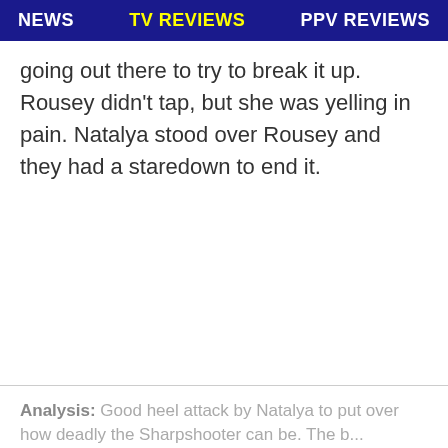NEWS   TV REVIEWS   PPV REVIEWS
going out there to try to break it up. Rousey didn't tap, but she was yelling in pain. Natalya stood over Rousey and they had a staredown to end it.
Analysis: Good heel attack by Natalya to put over how deadly the Sharpshooter can be. The b...